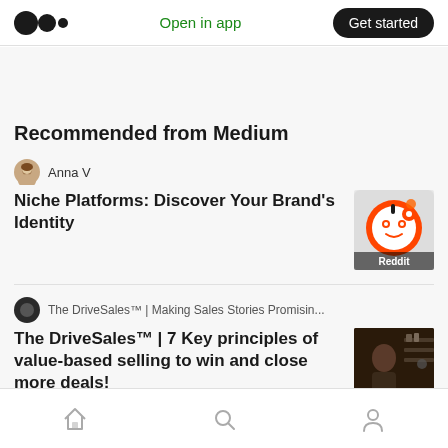Open in app  Get started
Recommended from Medium
Anna V
Niche Platforms: Discover Your Brand's Identity
[Figure (photo): Reddit app icon]
The DriveSales™ | Making Sales Stories Promisin...
The DriveSales™ | 7 Key principles of value-based selling to win and close more deals!
[Figure (photo): Salesperson photo thumbnail]
Home  Search  Profile